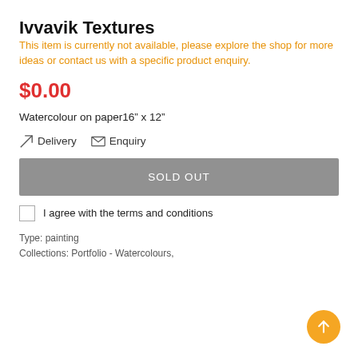Ivvavik Textures
This item is currently not available, please explore the shop for more ideas or contact us with a specific product enquiry.
$0.00
Watercolour on paper16” x 12”
Delivery   Enquiry
SOLD OUT
I agree with the terms and conditions
Type: painting
Collections: Portfolio - Watercolours,